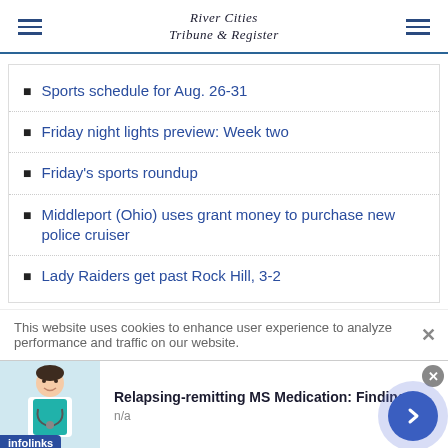River Cities Tribune & Register
Sports schedule for Aug. 26-31
Friday night lights preview: Week two
Friday's sports roundup
Middleport (Ohio) uses grant money to purchase new police cruiser
Lady Raiders get past Rock Hill, 3-2
This website uses cookies to enhance user experience to analyze performance and traffic on our website.
[Figure (infographic): Infolinks advertisement banner: Relapsing-remitting MS Medication: Finding, with doctor image and navigation arrow button]